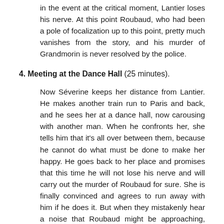in the event at the critical moment, Lantier loses his nerve. At this point Roubaud, who had been a pole of focalization up to this point, pretty much vanishes from the story, and his murder of Grandmorin is never resolved by the police.
4. Meeting at the Dance Hall (25 minutes).
Now Séverine keeps her distance from Lantier. He makes another train run to Paris and back, and he sees her at a dance hall, now carousing with another man. When he confronts her, she tells him that it's all over between them, because he cannot do what must be done to make her happy. He goes back to her place and promises that this time he will not lose his nerve and will carry out the murder of Roubaud for sure. She is finally convinced and agrees to run away with him if he does it. But when they mistakenly hear a noise that Roubaud might be approaching, Lantier has another one of his seizures and brutally kills Séverine, instead. In a stupor he returns to the railroad yard and gets on the train